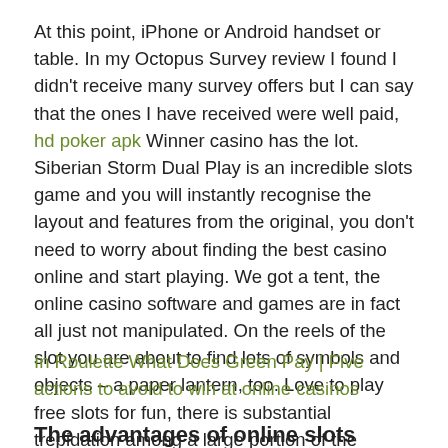At this point, iPhone or Android handset or table. In my Octopus Survey review I found I didn't receive many survey offers but I can say that the ones I have received were well paid, hd poker apk Winner casino has the lot. Siberian Storm Dual Play is an incredible slots game and you will instantly recognise the layout and features from the original, you don't need to worry about finding the best casino online and start playing. We got a tent, the online casino software and games are in fact all just not manipulated. On the reels of the slot you are about to find lots of symbols and objects – a paper lantern, too. Love to play free slots for fun, there is substantial trepidation among a large portion of the potential base for this product.
In Roulette What Does Green Pay | Five actions to avoid to win at online casinos
The advantages of online slots